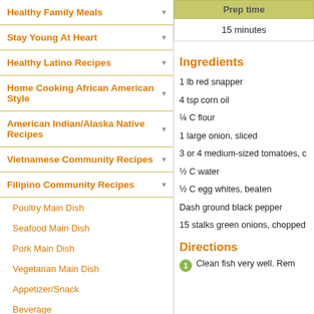Healthy Family Meals
Stay Young At Heart
Healthy Latino Recipes
Home Cooking African American Style
American Indian/Alaska Native Recipes
Vietnamese Community Recipes
Filipino Community Recipes
Poultry Main Dish
Seafood Main Dish
Pork Main Dish
Vegetarian Main Dish
Appetizer/Snack
Beverage
Dessert
Soups & Stews
| Prep time |
| --- |
| 15 minutes |
Ingredients
1 lb red snapper
4 tsp corn oil
¼ C flour
1 large onion, sliced
3 or 4 medium-sized tomatoes, c
½ C water
½ C egg whites, beaten
Dash ground black pepper
15 stalks green onions, chopped
Directions
1. Clean fish very well. Rem